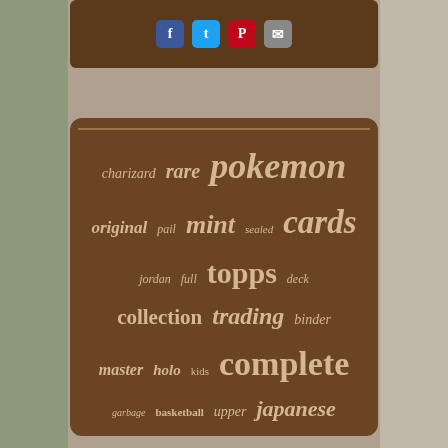[Figure (infographic): A word/tag cloud on a dark brown background showing trading card related terms in varying font sizes. Terms include: pokemon (largest), cards, complete, baseball, series, topps, trading, card, base, sets, rookie, mint, collection, rare, charizard, original, master, holo, japanese, marvel, binder, deck, full, jordan, sealed, pail, garbage, basketball, upper, kids, panini, hockey, fleer, factory, edition]